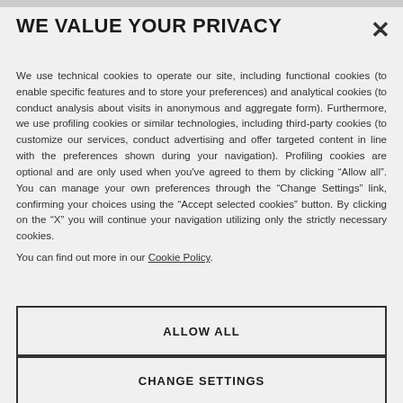WE VALUE YOUR PRIVACY
We use technical cookies to operate our site, including functional cookies (to enable specific features and to store your preferences) and analytical cookies (to conduct analysis about visits in anonymous and aggregate form). Furthermore, we use profiling cookies or similar technologies, including third-party cookies (to customize our services, conduct advertising and offer targeted content in line with the preferences shown during your navigation). Profiling cookies are optional and are only used when you've agreed to them by clicking “Allow all”. You can manage your own preferences through the “Change Settings” link, confirming your choices using the “Accept selected cookies” button. By clicking on the “X” you will continue your navigation utilizing only the strictly necessary cookies. You can find out more in our Cookie Policy.
ALLOW ALL
CHANGE SETTINGS